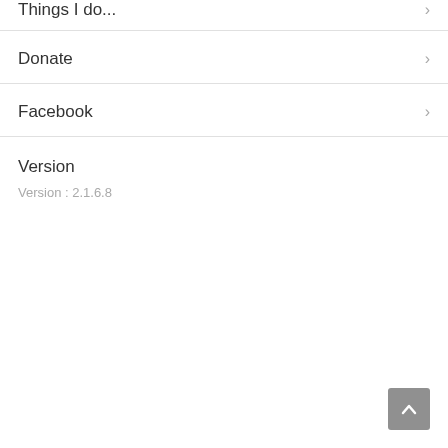Things I do
Donate
Facebook
Version
Version : 2.1.6.8